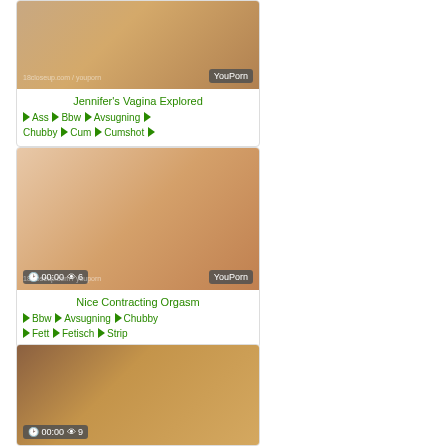[Figure (photo): Video thumbnail for Jennifer's Vagina Explored with YouPorn watermark]
Jennifer's Vagina Explored
♦ Ass ♦ Bbw ♦ Avsugning ♦ Chubby ♦ Cum ♦ Cumshot ♦
[Figure (photo): Video thumbnail for Nice Contracting Orgasm with 00:00 timer and 6 views, YouPorn watermark]
Nice Contracting Orgasm
♦ Bbw ♦ Avsugning ♦ Chubby ♦ Fett ♦ Fetisch ♦ Strip
[Figure (photo): Video thumbnail with 00:00 timer and 9 views, partial image visible]